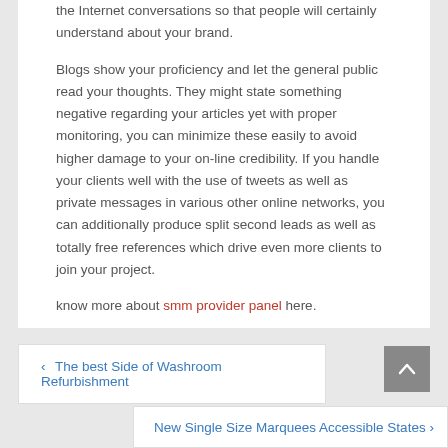the Internet conversations so that people will certainly understand about your brand.

Blogs show your proficiency and let the general public read your thoughts. They might state something negative regarding your articles yet with proper monitoring, you can minimize these easily to avoid higher damage to your on-line credibility. If you handle your clients well with the use of tweets as well as private messages in various other online networks, you can additionally produce split second leads as well as totally free references which drive even more clients to join your project.

know more about smm provider panel here.
‹ The best Side of Washroom Refurbishment
New Single Size Marquees Accessible States ›